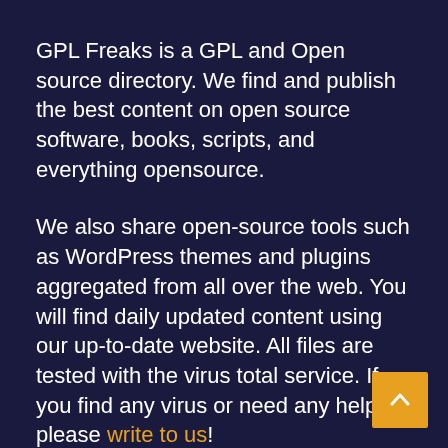GPL Freaks is a GPL and Open source directory. We find and publish the best content on open source software, books, scripts, and everything opensource.
We also share open-source tools such as WordPress themes and plugins aggregated from all over the web. You will find daily updated content using our up-to-date website. All files are tested with the virus total service. If you find any virus or need any help, please write to us!
Also if you like any theme, add-on, or plugin, please support the developer by purchasing. Thank you.